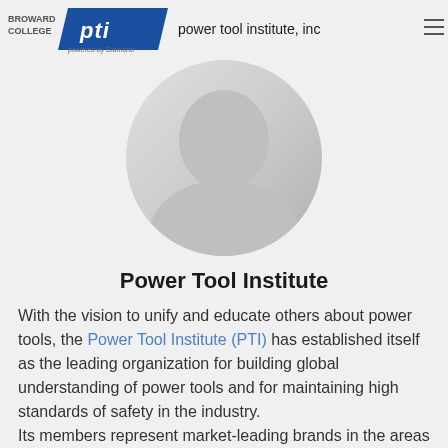BROWARD COLLEGE | pti power tool institute, inc — powered by Diamond
[Figure (photo): Circular portrait photo area showing a blurred/partial person image]
Power Tool Institute
With the vision to unify and educate others about power tools, the Power Tool Institute (PTI) has established itself as the leading organization for building global understanding of power tools and for maintaining high standards of safety in the industry.
Its members represent market-leading brands in the areas of portable and stationary power tools